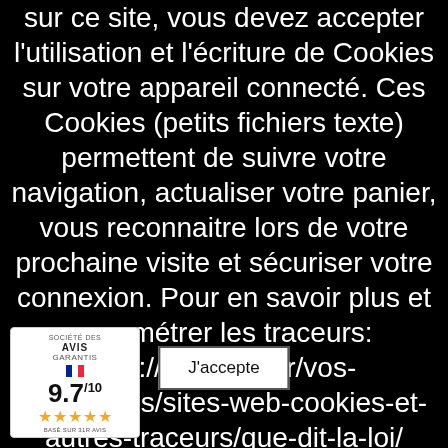sur ce site, vous devez accepter l'utilisation et l'écriture de Cookies sur votre appareil connecté. Ces Cookies (petits fichiers texte) permettent de suivre votre navigation, actualiser votre panier, vous reconnaitre lors de votre prochaine visite et sécuriser votre connexion. Pour en savoir plus et paramétrer les traceurs: http://www.cnil.fr/vos-obligations/sites-web-cookies-et-autres-traceurs/que-dit-la-loi/
[Figure (other): Avis Garantis badge showing 9.7/10 rating with 5 gold stars, société des AVIS GARANTIS label with French flag, based on 31R avis]
J'accepte